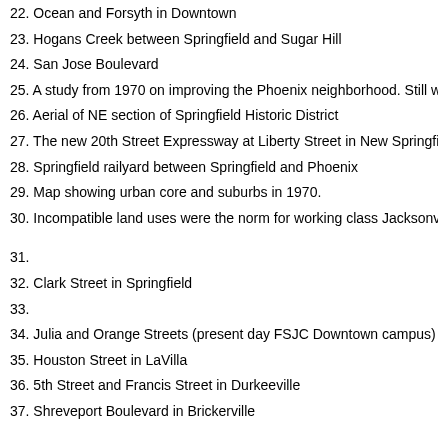22. Ocean and Forsyth in Downtown
23. Hogans Creek between Springfield and Sugar Hill
24. San Jose Boulevard
25. A study from 1970 on improving the Phoenix neighborhood. Still waiting 45 yea
26. Aerial of NE section of Springfield Historic District
27. The new 20th Street Expressway at Liberty Street in New Springfield
28. Springfield railyard between Springfield and Phoenix
29. Map showing urban core and suburbs in 1970.
30. Incompatible land uses were the norm for working class Jacksonville neighborh
31.
32. Clark Street in Springfield
33.
34. Julia and Orange Streets (present day FSJC Downtown campus)
35. Houston Street in LaVilla
36. 5th Street and Francis Street in Durkeeville
37. Shreveport Boulevard in Brickerville